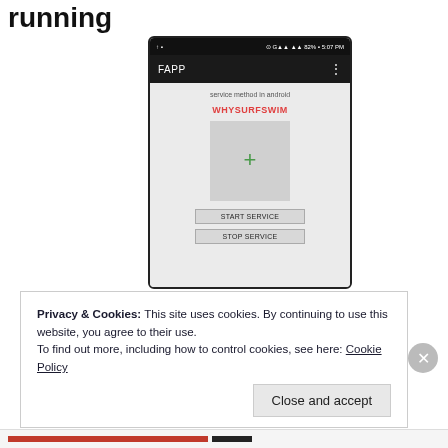running
[Figure (screenshot): Android smartphone screenshot showing a FAPP app with 'service method in android' text, WHYSURFSWIM label in red, a grey image placeholder with green plus icon, and two buttons: START SERVICE and STOP SERVICE]
Privacy & Cookies: This site uses cookies. By continuing to use this website, you agree to their use.
To find out more, including how to control cookies, see here: Cookie Policy
Close and accept